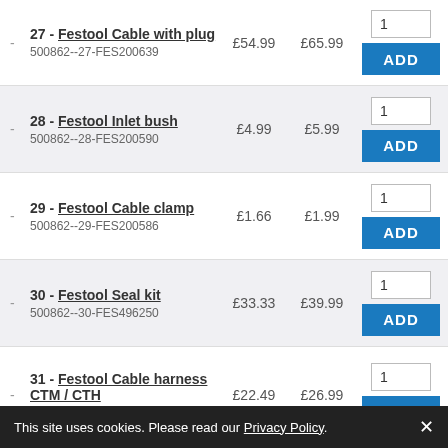27 - Festool Cable with plug
500862--27-FES200639
£54.99  £65.99
28 - Festool Inlet bush
500862--28-FES200590
£4.99  £5.99
29 - Festool Cable clamp
500862--29-FES200586
£1.66  £1.99
30 - Festool Seal kit
500862--30-FES496250
£33.33  £39.99
31 - Festool Cable harness CTM / CTH
500862--31-FES496251
£22.49  £26.99
This site uses cookies. Please read our Privacy Policy. ×